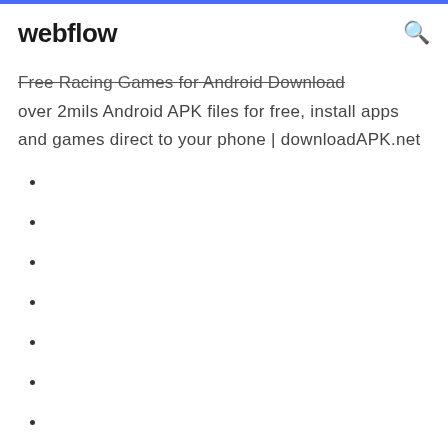webflow
Free Racing Games for Android Download over 2mils Android APK files for free, install apps and games direct to your phone | downloadAPK.net